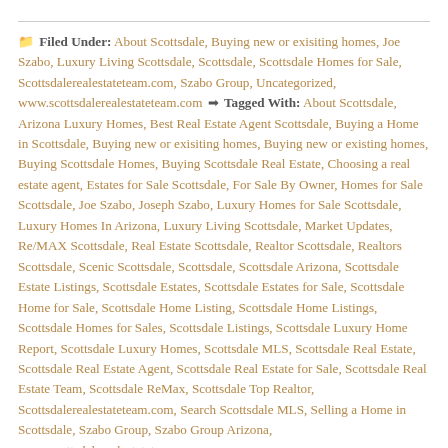Filed Under: About Scottsdale, Buying new or exisiting homes, Joe Szabo, Luxury Living Scottsdale, Scottsdale, Scottsdale Homes for Sale, Scottsdalerealestateteam.com, Szabo Group, Uncategorized, www.scottsdalerealestateteam.com Tagged With: About Scottsdale, Arizona Luxury Homes, Best Real Estate Agent Scottsdale, Buying a Home in Scottsdale, Buying new or exisiting homes, Buying new or existing homes, Buying Scottsdale Homes, Buying Scottsdale Real Estate, Choosing a real estate agent, Estates for Sale Scottsdale, For Sale By Owner, Homes for Sale Scottsdale, Joe Szabo, Joseph Szabo, Luxury Homes for Sale Scottsdale, Luxury Homes In Arizona, Luxury Living Scottsdale, Market Updates, Re/MAX Scottsdale, Real Estate Scottsdale, Realtor Scottsdale, Realtors Scottsdale, Scenic Scottsdale, Scottsdale, Scottsdale Arizona, Scottsdale Estate Listings, Scottsdale Estates, Scottsdale Estates for Sale, Scottsdale Home for Sale, Scottsdale Home Listing, Scottsdale Home Listings, Scottsdale Homes for Sales, Scottsdale Listings, Scottsdale Luxury Home Report, Scottsdale Luxury Homes, Scottsdale MLS, Scottsdale Real Estate, Scottsdale Real Estate Agent, Scottsdale Real Estate for Sale, Scottsdale Real Estate Team, Scottsdale ReMax, Scottsdale Top Realtor, Scottsdalerealestateteam.com, Search Scottsdale MLS, Selling a Home in Scottsdale, Szabo Group, Szabo Group Arizona, www.scottsdalerealestateteam.com
Leave a Reply